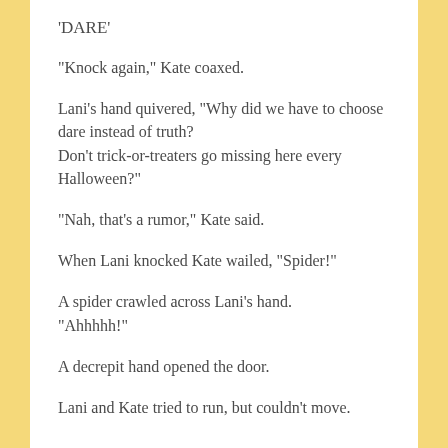'DARE'
“Knock again,” Kate coaxed.
Lani’s hand quivered, “Why did we have to choose dare instead of truth?
Don’t trick-or-treaters go missing here every Halloween?”
“Nah, that’s a rumor,” Kate said.
When Lani knocked Kate wailed, “Spider!”
A spider crawled across Lani’s hand.
“Ahhhhh!”
A decrepit hand opened the door.
Lani and Kate tried to run, but couldn’t move.